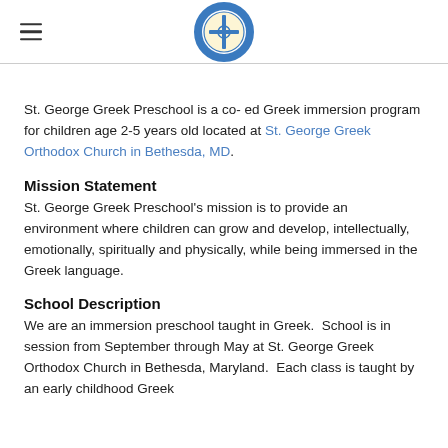[St. George Greek Preschool logo]
St. George Greek Preschool is a co- ed Greek immersion program for children age 2-5 years old located at St. George Greek Orthodox Church in Bethesda, MD.
Mission Statement
St. George Greek Preschool's mission is to provide an environment where children can grow and develop, intellectually, emotionally, spiritually and physically, while being immersed in the Greek language.
School Description
We are an immersion preschool taught in Greek.  School is in session from September through May at St. George Greek Orthodox Church in Bethesda, Maryland.  Each class is taught by an early childhood Greek